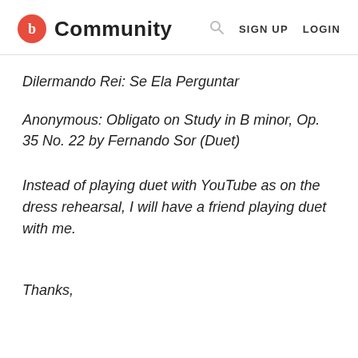b Community   SIGN UP   LOGIN
Dilermando Rei: Se Ela Perguntar
Anonymous: Obligato on Study in B minor, Op. 35 No. 22 by Fernando Sor (Duet)
Instead of playing duet with YouTube as on the dress rehearsal, I will have a friend playing duet with me.
Thanks,